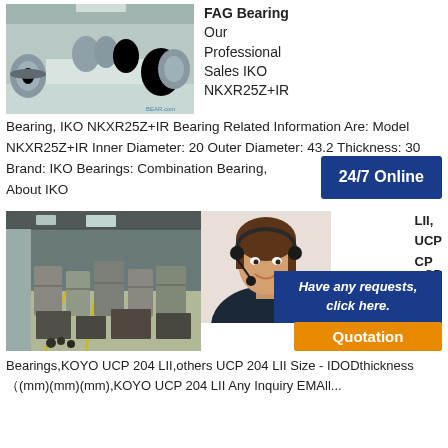[Figure (photo): Warehouse interior with large steel coils on the floor]
FAG Bearing Our Professional Sales IKO NKXR25Z+IR
Bearing, IKO NKXR25Z+IR Bearing Related Information Are: Model NKXR25Z+IR Inner Diameter: 20 Outer Diameter: 43.2 Thickness: 30 Brand: IKO Bearings: Combination Bearing, You Want To Know More About IKO
[Figure (photo): Large warehouse interior with wrapped bearing packages stacked on the floor]
[Figure (photo): Customer service agent woman with headset smiling]
LII, UCP CP
CP
CP
CP
Have any requests, click here.
Quotation
24/7 Online
Bearings,KOYO UCP 204 LII,others UCP 204 LII Size - IDODthickness（(mm)(mm)(mm),KOYO UCP 204 LII Any Inquiry EMAll...